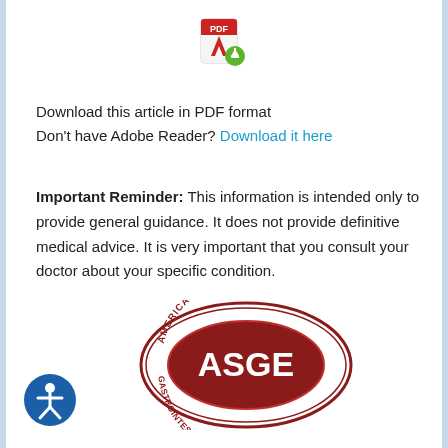[Figure (logo): Adobe PDF download icon with a red PDF logo and a green download arrow badge]
Download this article in PDF format
Don't have Adobe Reader? Download it here
Important Reminder: This information is intended only to provide general guidance. It does not provide definitive medical advice. It is very important that you consult your doctor about your specific condition.
[Figure (logo): ASGE - American Society for Gastrointestinal Endoscopy oval logo with dark red/maroon colors]
[Figure (logo): Blue circular accessibility icon with a person figure]